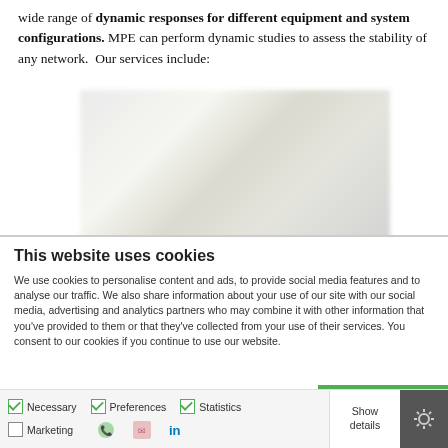wide range of dynamic responses for different equipment and system configurations. MPE can perform dynamic studies to assess the stability of any network. Our services include:
[Figure (other): Blurred/obscured image of a chart or diagram related to dynamic studies, partially visible behind cookie overlay]
This website uses cookies
We use cookies to personalise content and ads, to provide social media features and to analyse our traffic. We also share information about your use of our site with our social media, advertising and analytics partners who may combine it with other information that you've provided to them or that they've collected from your use of their services. You consent to our cookies if you continue to use our website.
OK
Necessary   Preferences   Statistics   Show details   Marketing
[Figure (other): Cookie consent toolbar with checkboxes, settings gear icon, and service icons (phone, email, LinkedIn)]